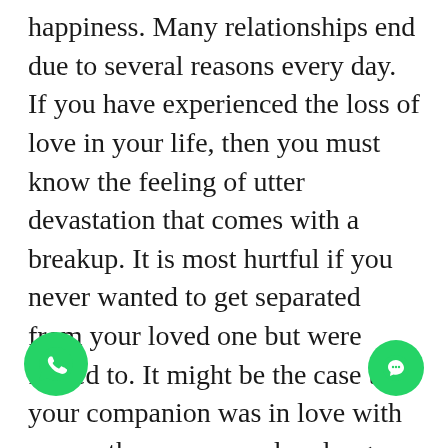happiness. Many relationships end due to several reasons every day. If you have experienced the loss of love in your life, then you must know the feeling of utter devastation that comes with a breakup. It is most hurtful if you never wanted to get separated from your loved one but were forced to. It might be the case that your companion was in love with some other person and no longer wanted to be with you. It is also likely that your partner could have stopped feeling attracted to you. Sometimes, many partners leave one er on the advice of their family. All e situations are some compelling
[Figure (illustration): WhatsApp floating button (green circle with white phone handset icon), bottom left]
[Figure (illustration): Chat floating button (green circle with white chat bubble icon), bottom right]